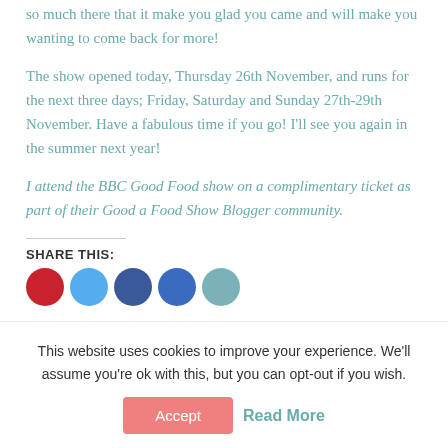so much there that it make you glad you came and will make you wanting to come back for more!
The show opened today, Thursday 26th November, and runs for the next three days; Friday, Saturday and Sunday 27th-29th November. Have a fabulous time if you go! I'll see you again in the summer next year!
I attend the BBC Good Food show on a complimentary ticket as part of their Good a Food Show Blogger community.
SHARE THIS:
[Figure (other): Row of five circular social share buttons: Pinterest (red), Twitter (light blue), Facebook (dark blue), Email (blue), Print (teal)]
This website uses cookies to improve your experience. We'll assume you're ok with this, but you can opt-out if you wish.